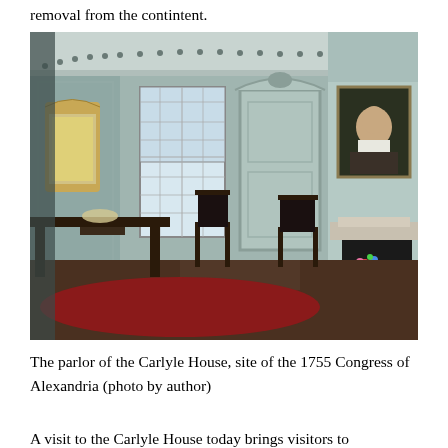removal from the contintent.
[Figure (photo): Interior parlor room of the Carlyle House showing colonial-era furniture including a dark wood table and chairs, a fireplace with a portrait painting above the mantel, paneled light gray-green walls, a decorative mirror, and a window with multi-pane glass. A red rug is on the floor and a flower arrangement sits in the fireplace opening.]
The parlor of the Carlyle House, site of the 1755 Congress of Alexandria (photo by author)
A visit to the Carlyle House today brings visitors to Alexandria in